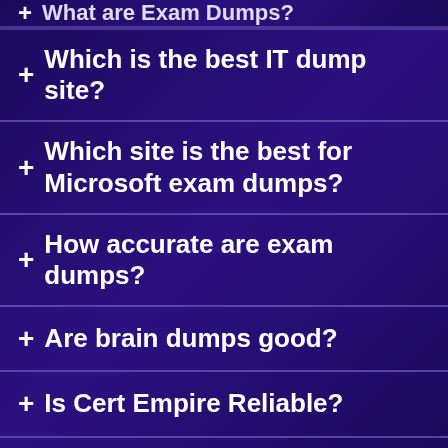+ What are Exam Dumps?
+ Which is the best IT dump site?
+ Which site is the best for Microsoft exam dumps?
+ How accurate are exam dumps?
+ Are brain dumps good?
+ Is Cert Empire Reliable?
+ The best Exam Dumps Website.
+ Are there dumps for